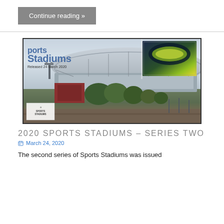Continue reading »
[Figure (photo): Cover image of the 2020 Sports Stadiums stamp series showing a stadium exterior with the text 'Sports Stadiums Released 24 March 2020' and a small aerial thumbnail of a lit stadium at night, plus the Sports Stadiums logo in the lower left corner.]
2020 SPORTS STADIUMS – SERIES TWO
March 24, 2020
The second series of Sports Stadiums was issued